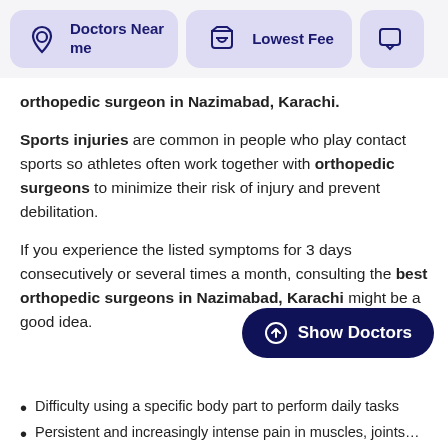[Figure (screenshot): Navigation bar with 'Doctors Near me' and 'Lowest Fee' filter buttons and a partially visible third button]
orthopedic surgeon in Nazimabad, Karachi.
Sports injuries are common in people who play contact sports so athletes often work together with orthopedic surgeons to minimize their risk of injury and prevent debilitation.
If you experience the listed symptoms for 3 days consecutively or several times a month, consulting the best orthopedic surgeons in Nazimabad, Karachi might be a good idea.
[Figure (other): Show Doctors button — dark navy rounded pill button with upward arrow icon]
Difficulty using a specific body part to perform daily tasks
Persistent and increasingly intense pain in muscles, joints…